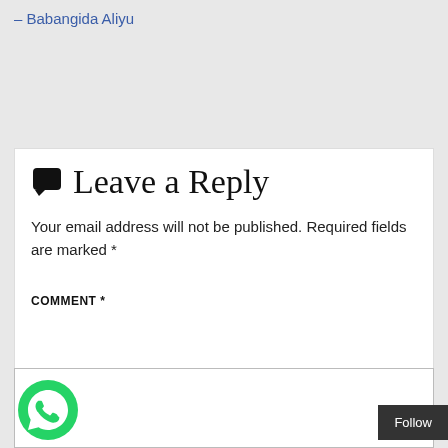– Babangida Aliyu
Leave a Reply
Your email address will not be published. Required fields are marked *
COMMENT *
[Figure (logo): WhatsApp logo button - green circle with white phone/chat icon]
Follow